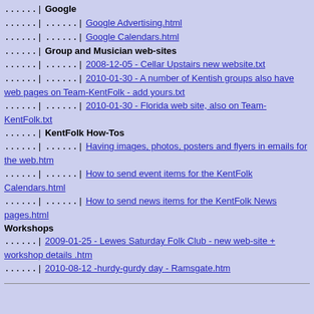......| Google
......| ......| Google Advertising.html
......| ......| Google Calendars.html
......| Group and Musician web-sites
......| ......| 2008-12-05 - Cellar Upstairs new website.txt
......| ......| 2010-01-30 - A number of Kentish groups also have web pages on Team-KentFolk - add yours.txt
......| ......| 2010-01-30 - Florida web site, also on Team-KentFolk.txt
......| KentFolk How-Tos
......| ......| Having images, photos, posters and flyers in emails for the web.htm
......| ......| How to send event items for the KentFolk Calendars.html
......| ......| How to send news items for the KentFolk News pages.html
Workshops
......| 2009-01-25 - Lewes Saturday Folk Club - new web-site + workshop details .htm
......| 2010-08-12 -hurdy-gurdy day - Ramsgate.htm